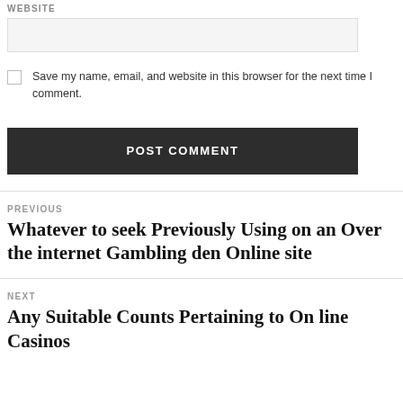WEBSITE
[Figure (other): Website text input field]
Save my name, email, and website in this browser for the next time I comment.
POST COMMENT
PREVIOUS
Whatever to seek Previously Using on an Over the internet Gambling den Online site
NEXT
Any Suitable Counts Pertaining to On line Casinos